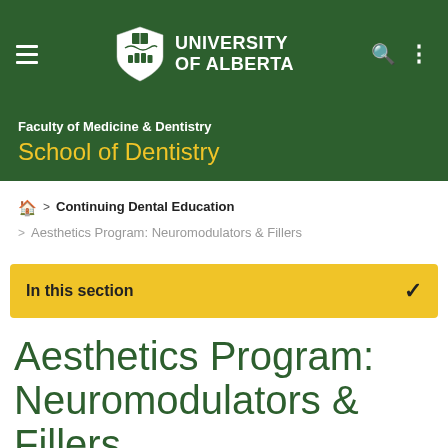University of Alberta — School of Dentistry navigation header
Faculty of Medicine & Dentistry
School of Dentistry
🏠 > Continuing Dental Education
> Aesthetics Program: Neuromodulators & Fillers
In this section
Aesthetics Program: Neuromodulators & Fillers